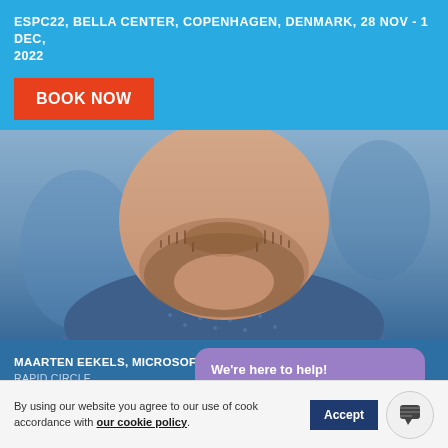ESPC22, BELLA CENTER, COPENHAGEN, DENMARK, 28 NOV - 1 DEC, 2022
BOOK NOW
[Figure (photo): Close-up photo of a man with a beard wearing a blue dotted shirt, cropped to show chin and neck area against a blurred blue background]
MAARTEN EEKELS, MICROSOFT REGIONAL DIRECTOR, MVP
RAPID CIRCLE
We're here to help!
Hi there! Welcome to ESPC22 :)
By using our website you agree to our use of cook in accordance with our cookie policy. Accept